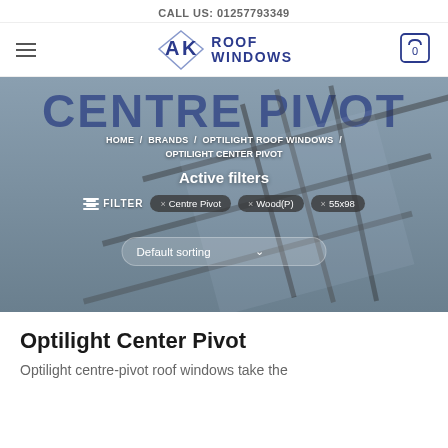CALL US: 01257793349
[Figure (logo): AK Roof Windows logo with stylized A and K letters in a diamond/rhombus shape, dark navy blue text reading ROOF WINDOWS]
[Figure (photo): Hero banner showing a close-up of a centre pivot roof window frame against a grey-blue background with large text CENTRE PIVOT partially visible. Breadcrumb navigation overlay reads HOME / BRANDS / OPTILIGHT ROOF WINDOWS / OPTILIGHT CENTER PIVOT. Active filters section shows filter chips for Centre Pivot, Wood(P), and 55x98. Default sorting dropdown visible at bottom.]
Optilight Center Pivot
Optilight centre-pivot roof windows take the